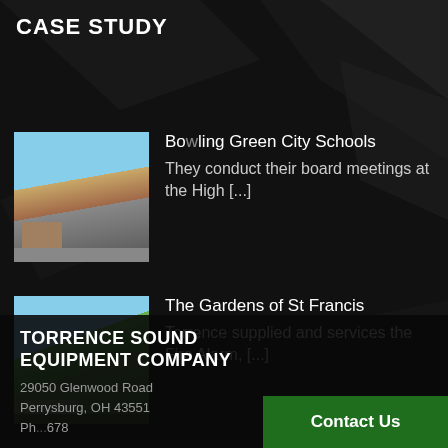CASE STUDY
Bowling Green City Schools
They conduct their board meetings at the High [...]
The Gardens of St Francis
Torrence supplied and services the Fire Alarm, [...]
TORRENCE SOUND EQUIPMENT COMPANY
29050 Glenwood Road
Perrysburg, OH 43551
Ph...678
Contact Us